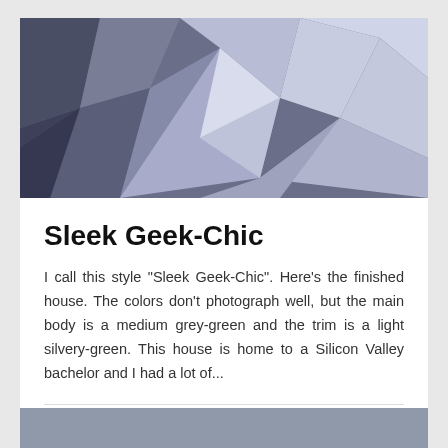[Figure (illustration): Abstract geometric polygon background image in shades of grey, lavender, and light blue — serves as a hero/banner image for the blog post card.]
Sleek Geek-Chic
I call this style "Sleek Geek-Chic". Here's the finished house. The colors don't photograph well, but the main body is a medium grey-green and the trim is a light silvery-green. This house is home to a Silicon Valley bachelor and I had a lot of...
Deb
April 5, 2007
3